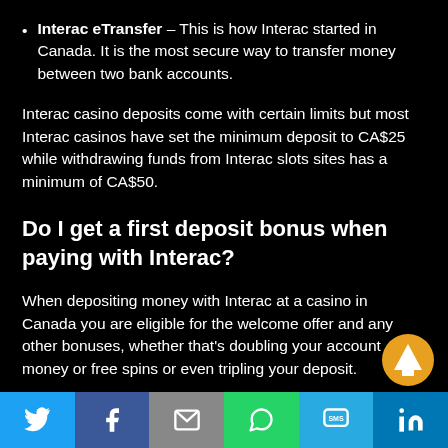Interac eTransfer – This is how Interac started in Canada. It is the most secure way to transfer money between two bank accounts.
Interac casino deposits come with certain limits but most Interac casinos have set the minimum deposit to CA$25 while withdrawing funds from Interac slots sites has a minimum of CA$50.
Do I get a first deposit bonus when paying with Interac?
When depositing money with Interac at a casino in Canada you are eligible for the welcome offer and any other bonuses, whether that's doubling your account money or free spins or even tripling your deposit.